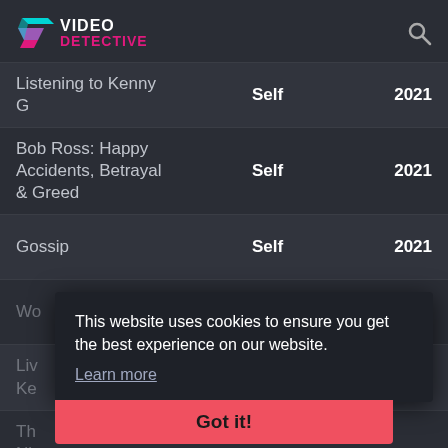VIDEO DETECTIVE
| Title | Role | Year |
| --- | --- | --- |
| Listening to Kenny G | Self | 2021 |
| Bob Ross: Happy Accidents, Betrayal & Greed | Self | 2021 |
| Gossip | Self | 2021 |
| Wo[obscured] | Self | 2021 |
| Liv[obscured] Ke[obscured] |  | 2021 |
| Th[obscured] Nig[obscured] |  |  |
This website uses cookies to ensure you get the best experience on our website.
Learn more
Got it!